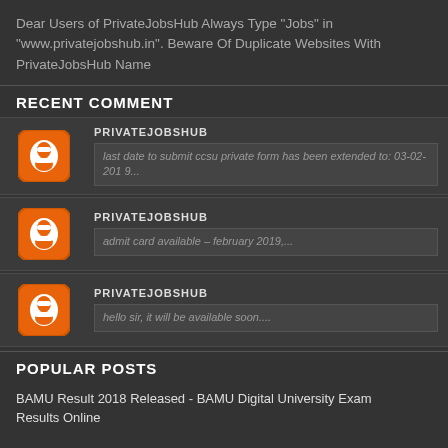Dear Users of PrivateJobsHub Always Type "Jobs" in "www.privatejobshub.in". Beware Of Duplicate Websites With PrivateJobsHub Name
RECENT COMMENT
PRIVATEJOBSHUB
last date to submit ccsu private form has been extended to: 03-02-2019...
PRIVATEJOBSHUB
admit card available – february 2019,...
PRIVATEJOBSHUB
hello sir, it will be available soon....
POPULAR POSTS
BAMU Result 2018 Released - BAMU Digital University Exam Results Online